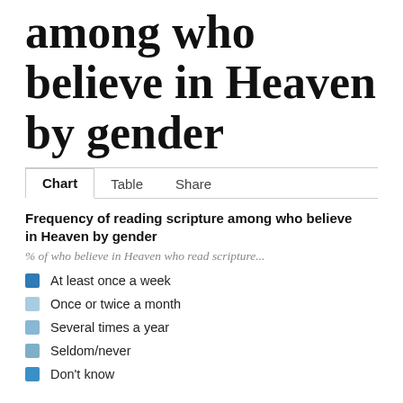among who believe in Heaven by gender
Chart  Table  Share
Frequency of reading scripture among who believe in Heaven by gender
% of who believe in Heaven who read scripture...
At least once a week
Once or twice a month
Several times a year
Seldom/never
Don't know